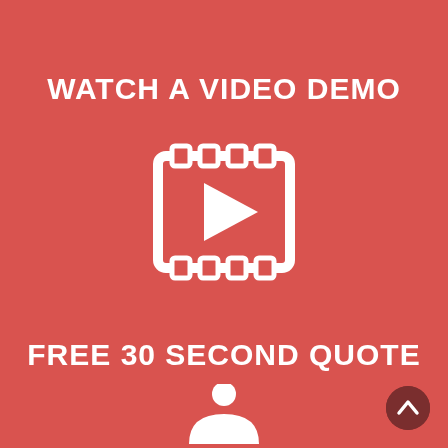WATCH A VIDEO DEMO
[Figure (illustration): Film reel / video icon in white outline style]
FREE 30 SECOND QUOTE
[Figure (illustration): Person/user icon in white, partially visible at bottom]
[Figure (illustration): Scroll-to-top arrow button, dark red circle bottom right]